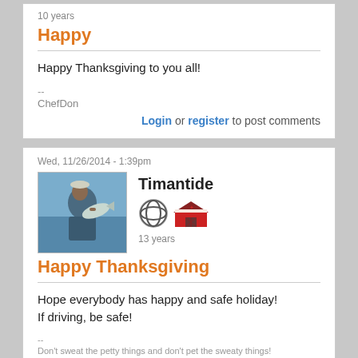10 years
Happy
Happy Thanksgiving to you all!
--
ChefDon
Login or register to post comments
Wed, 11/26/2014 - 1:39pm
[Figure (photo): User avatar photo of Timantide holding a fish on a boat]
Timantide
[Figure (illustration): Badge icons: circular badge and red barn badge]
13 years
Happy Thanksgiving
Hope everybody has happy and safe holiday!
If driving, be safe!
--
Don't sweat the petty things and don't pet the sweaty things!